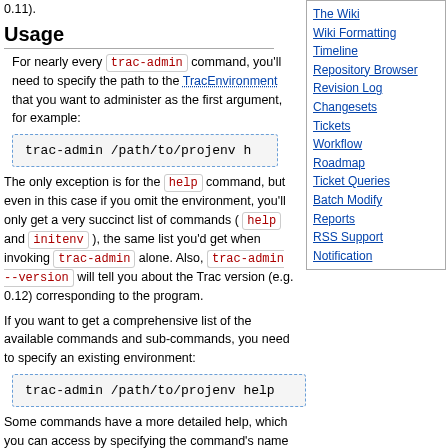0.11).
Usage
For nearly every trac-admin command, you'll need to specify the path to the TracEnvironment that you want to administer as the first argument, for example:
trac-admin /path/to/projenv h
The only exception is for the help command, but even in this case if you omit the environment, you'll only get a very succinct list of commands ( help and initenv ), the same list you'd get when invoking trac-admin alone. Also, trac-admin --version will tell you about the Trac version (e.g. 0.12) corresponding to the program.
If you want to get a comprehensive list of the available commands and sub-commands, you need to specify an existing environment:
trac-admin /path/to/projenv help
Some commands have a more detailed help, which you can access by specifying the command's name as a subcommand for help :
[Figure (other): Sidebar navigation links: The Wiki, Wiki Formatting, Timeline, Repository Browser, Revision Log, Changesets, Tickets, Workflow, Roadmap, Ticket Queries, Batch Modify, Reports, RSS Support, Notification]